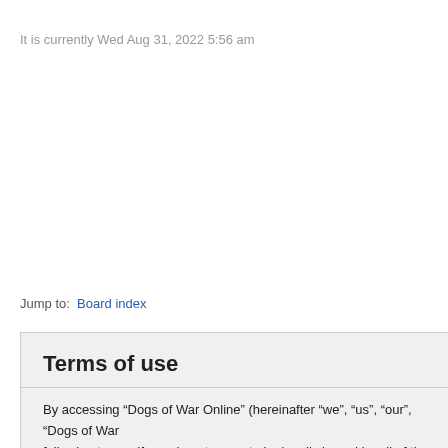It is currently Wed Aug 31, 2022 5:56 am
Jump to:  Board index
Terms of use
By accessing “Dogs of War Online” (hereinafter “we”, “us”, “our”, “Dogs of War following terms. If you do not agree to be legally bound by all of the following te any time and we’ll do our utmost in informing you, though it would be prudent to changes mean you agree to be legally bound by these terms as they are und